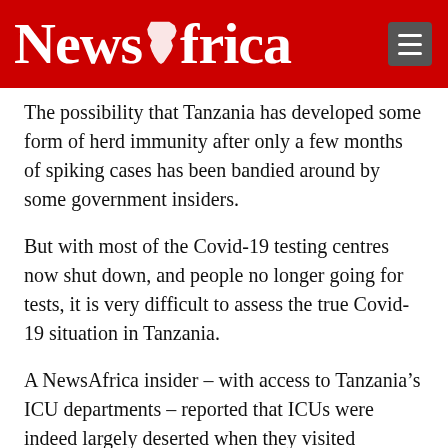NewsAfrica
The possibility that Tanzania has developed some form of herd immunity after only a few months of spiking cases has been bandied around by some government insiders.
But with most of the Covid-19 testing centres now shut down, and people no longer going for tests, it is very difficult to assess the true Covid-19 situation in Tanzania.
A NewsAfrica insider – with access to Tanzania’s ICU departments – reported that ICUs were indeed largely deserted when they visited hospitals last month.